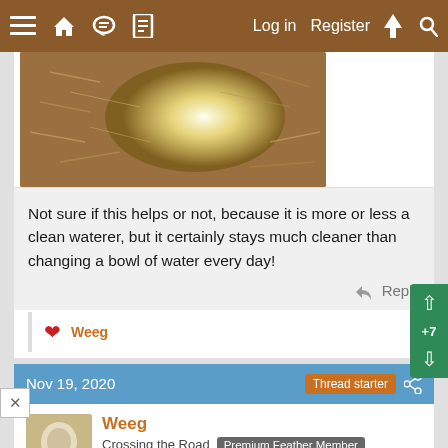≡  🏠  💬  📄    Log in   Register  ⚡  🔍
[Figure (photo): Photo of wood shavings/bedding material, golden brown colors with bright light in center]
Not sure if this helps or not, because it is more or less a clean waterer, but it certainly stays much cleaner than changing a bowl of water every day!
Reply
❤ Weeg
Nov 19, 2020  Thread starter  +7
Weeg
Crossing the Road  Premium Feather Member
BYC Spirit  BYC Friend